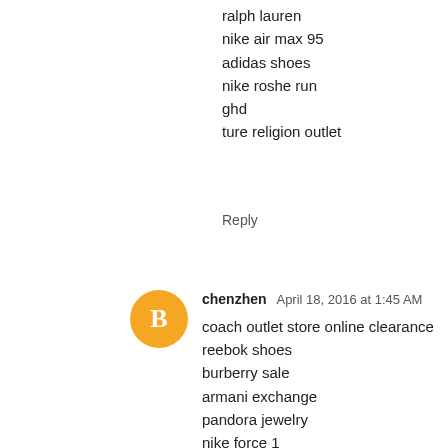ralph lauren
nike air max 95
adidas shoes
nike roshe run
ghd
ture religion outlet
Reply
[Figure (illustration): Blogger avatar icon: orange circle with white 'B' letter]
chenzhen  April 18, 2016 at 1:45 AM
coach outlet store online clearance
reebok shoes
burberry sale
armani exchange
pandora jewelry
nike force 1
coach outlet store online
nike blazer
under armour outlet store
adidas superstars
stephen curry basketball shoes
instyler max
lacoste polo shirts
true religion jeans
michael kors handbags
polo ralph lauren